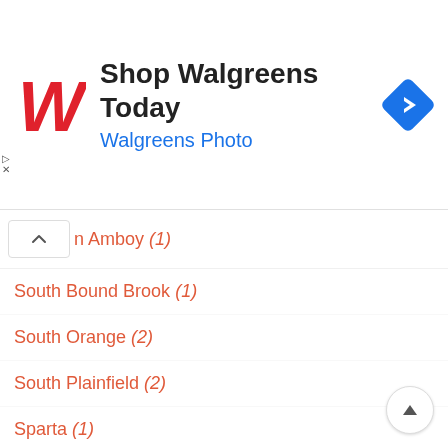[Figure (logo): Walgreens advertisement banner with red W logo, 'Shop Walgreens Today' title, 'Walgreens Photo' subtitle, and blue navigation arrow icon]
n Amboy (1)
South Bound Brook (1)
South Orange (2)
South Plainfield (2)
Sparta (1)
Spotswood (3)
Swainton (1)
Tabernacle (1)
Tabernacle Township (1)